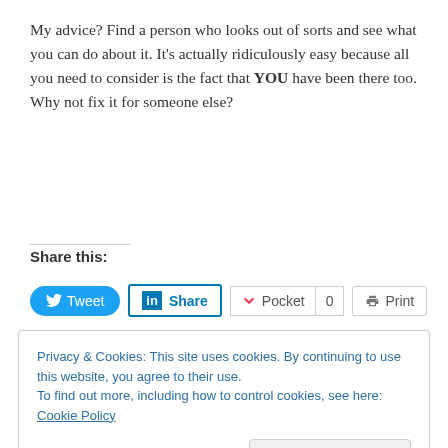My advice?  Find a person who looks out of sorts and see what you can do about it.  It's actually ridiculously easy because all you need to consider is the fact that YOU have been there too.  Why not fix it for someone else?
Share this:
[Figure (screenshot): Social sharing buttons: Tweet (Twitter), Share (LinkedIn), Pocket with count 0, Print, Email]
Like this:
Privacy & Cookies: This site uses cookies. By continuing to use this website, you agree to their use.
To find out more, including how to control cookies, see here: Cookie Policy
Close and accept